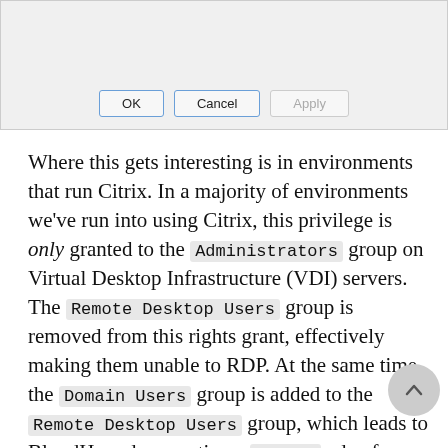[Figure (screenshot): Dialog box showing OK, Cancel, and Apply buttons at the bottom of a Windows-style dialog]
Where this gets interesting is in environments that run Citrix. In a majority of environments we've run into using Citrix, this privilege is only granted to the Administrators group on Virtual Desktop Infrastructure (VDI) servers. The Remote Desktop Users group is removed from this rights grant, effectively making them unable to RDP. At the same time, the Domain Users group is added to the Remote Desktop Users group, which leads to BloodHound generating a CanRDP edge from Domain Users to the VDI host. Inevitably when testing this, the RDP session will fail, since Domain Users does not have the necessary privilege. When